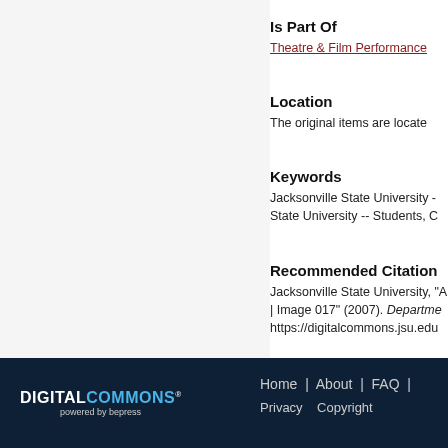Is Part Of
Theatre & Film Performance
Location
The original items are locate
Keywords
Jacksonville State University - State University -- Students, C
Recommended Citation
Jacksonville State University, "A | Image 017" (2007). Departme https://digitalcommons.jsu.edu
Home | About | FAQ | Privacy Copyright